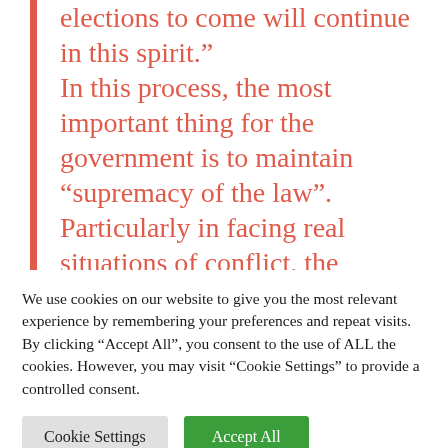elections to come will continue in this spirit." In this process, the most important thing for the government is to maintain "supremacy of the law". Particularly in facing real situations of conflict, the government must not only deal according to the law with illegal conduct, but must more importantly protect the legitimate rights of the people according to the law
We use cookies on our website to give you the most relevant experience by remembering your preferences and repeat visits. By clicking "Accept All", you consent to the use of ALL the cookies. However, you may visit "Cookie Settings" to provide a controlled consent.